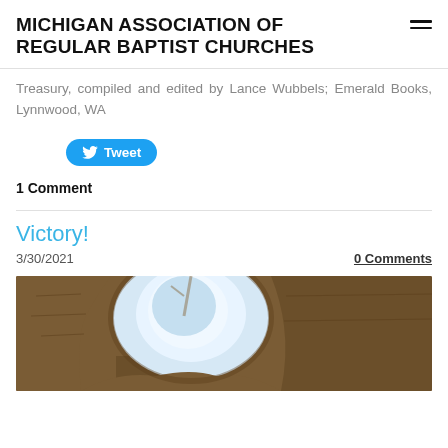MICHIGAN ASSOCIATION OF REGULAR BAPTIST CHURCHES
Treasury, compiled and edited by Lance Wubbels; Emerald Books, Lynnwood, WA
Tweet
1 Comment
Victory!
3/30/2021
0 Comments
[Figure (photo): Photo of a cave or tomb opening with light visible through the entrance, stone walls visible, brown rocky texture]